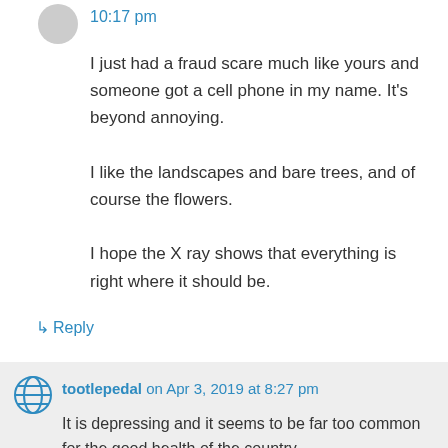10:17 pm
I just had a fraud scare much like yours and someone got a cell phone in my name. It's beyond annoying.
I like the landscapes and bare trees, and of course the flowers.
I hope the X ray shows that everything is right where it should be.
↳ Reply
tootlepedal on Apr 3, 2019 at 8:27 pm
It is depressing and it seems to be far too common for the good health of the country.